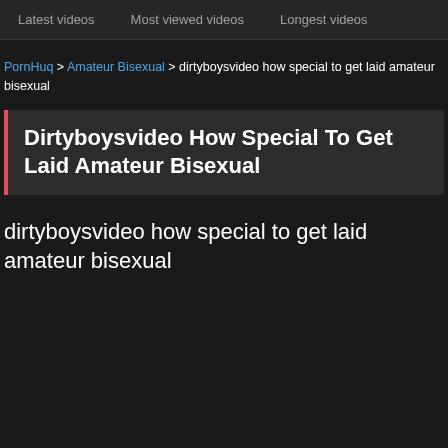Latest videos   Most viewed videos   Longest videos
PornHuq > Amateur Bisexual > dirtyboysvideo how special to get laid amateur bisexual
Dirtyboysvideo How Special To Get Laid Amateur Bisexual
dirtyboysvideo how special to get laid amateur bisexual